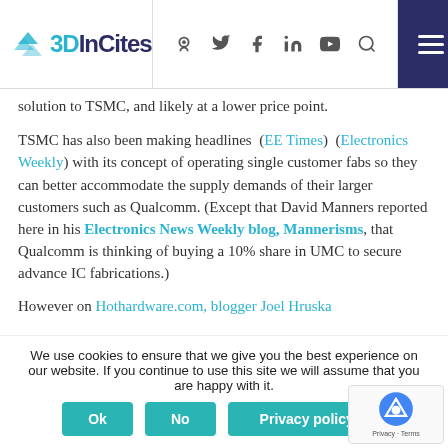3DInCites — navigation bar with logo and social icons
solution to TSMC, and likely at a lower price point.
TSMC has also been making headlines (EE Times) (Electronics Weekly) with its concept of operating single customer fabs so they can better accommodate the supply demands of their larger customers such as Qualcomm. (Except that David Manners reported here in his Electronics News Weekly blog, Mannerisms, that Qualcomm is thinking of buying a 10% share in UMC to secure advance IC fabrications.)
However on Hothardware.com, blogger Joel Hruska
We use cookies to ensure that we give you the best experience on our website. If you continue to use this site we will assume that you are happy with it.